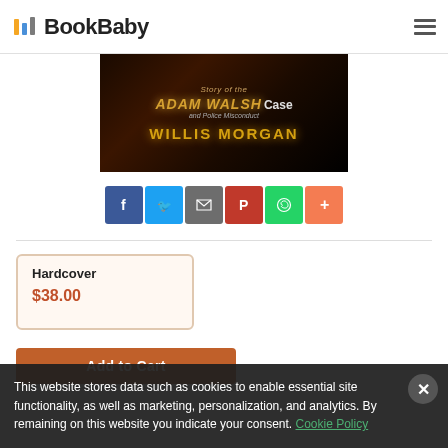BookBaby
[Figure (illustration): Book cover for 'The Story of the Adam Walsh Case and Police Misconduct' by Willis Morgan, dark background with golden text]
[Figure (infographic): Social sharing buttons: Facebook, Twitter, Email, Pinterest, WhatsApp, and a plus button]
Hardcover
$38.00
Add to Cart
This website stores data such as cookies to enable essential site functionality, as well as marketing, personalization, and analytics. By remaining on this website you indicate your consent. Cookie Policy